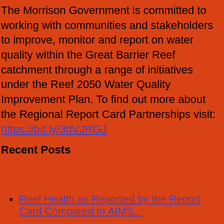The Morrison Government is committed to working with communities and stakeholders to improve, monitor and report on water quality within the Great Barrier Reef catchment through a range of initiatives under the Reef 2050 Water Quality Improvement Plan. To find out more about the Regional Report Card Partnerships visit: https://bit.ly/3dVJRGJ
Recent Posts
Reef Health as Reported by the Report Card Compared to AIMS...